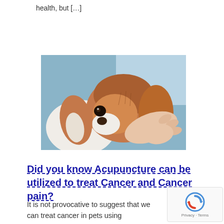health, but […]
[Figure (photo): Close-up photo of a Cavalier King Charles Spaniel dog being held/examined by a human hand near its head/neck area, with a teal/blue background]
Did you know Acupuncture can be utilized to treat Cancer and Cancer pain?
It is not provocative to suggest that we can treat cancer in pets using